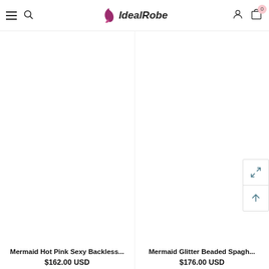IdealRobe navigation header with hamburger menu, search, logo, user account, and cart (0)
Mermaid Hot Pink Sexy Backless...
$162.00 USD
Mermaid Glitter Beaded Spagh...
$176.00 USD